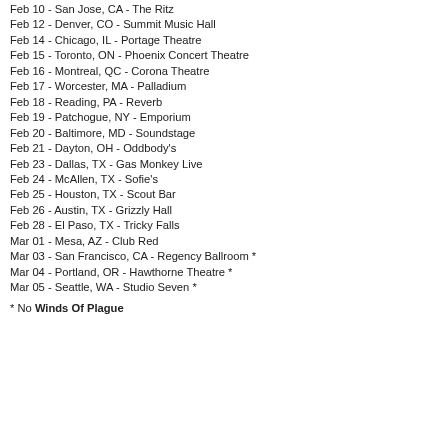Feb 10 - San Jose, CA - The Ritz
Feb 12 - Denver, CO - Summit Music Hall
Feb 14 - Chicago, IL - Portage Theatre
Feb 15 - Toronto, ON - Phoenix Concert Theatre
Feb 16 - Montreal, QC - Corona Theatre
Feb 17 - Worcester, MA - Palladium
Feb 18 - Reading, PA - Reverb
Feb 19 - Patchogue, NY - Emporium
Feb 20 - Baltimore, MD - Soundstage
Feb 21 - Dayton, OH - Oddbody's
Feb 23 - Dallas, TX - Gas Monkey Live
Feb 24 - McAllen, TX - Sofie's
Feb 25 - Houston, TX - Scout Bar
Feb 26 - Austin, TX - Grizzly Hall
Feb 28 - El Paso, TX - Tricky Falls
Mar 01 - Mesa, AZ - Club Red
Mar 03 - San Francisco, CA - Regency Ballroom *
Mar 04 - Portland, OR - Hawthorne Theatre *
Mar 05 - Seattle, WA - Studio Seven *
* No Winds Of Plague